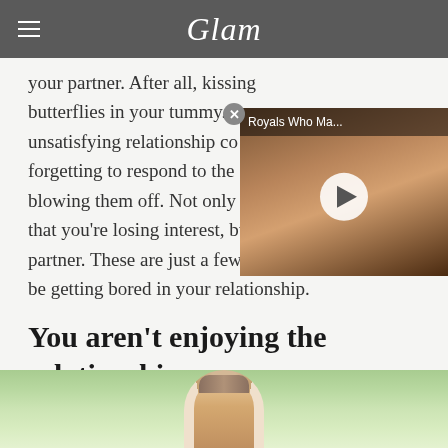Glam
your partner. After all, kissing butterflies in your tummy. A unsatisfying relationship co forgetting to respond to the blowing them off. Not only is this an indication that you're losing interest, but it's not fair to your partner. These are just a few signs that you could be getting bored in your relationship.
[Figure (screenshot): Video overlay thumbnail showing a woman, titled 'Royals Who Ma...' with a play button]
You aren't enjoying the relationship
[Figure (photo): Bottom portion of page showing top of a man's head with green leafy background]